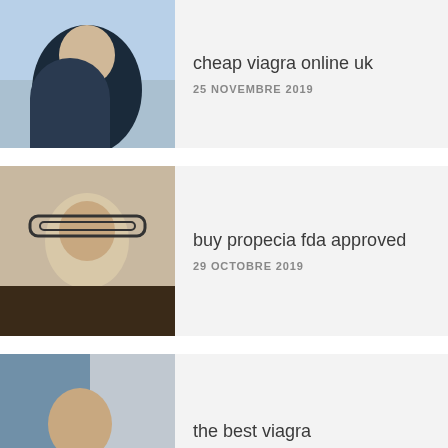cheap viagra online uk | 25 NOVEMBRE 2019
buy propecia fda approved | 29 OCTOBRE 2019
the best viagra | 21 OCTOBRE 2019
25mg vardenafil order | 1 NOVEMBRE 2019
original levitra